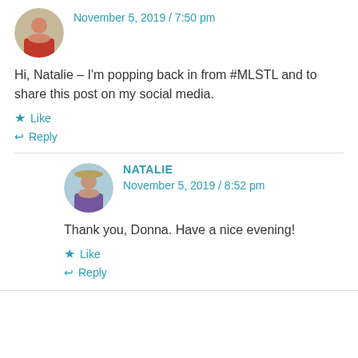November 5, 2019 / 7:50 pm
Hi, Natalie – I'm popping back in from #MLSTL and to share this post on my social media.
Like
Reply
NATALIE
November 5, 2019 / 8:52 pm
Thank you, Donna. Have a nice evening!
Like
Reply